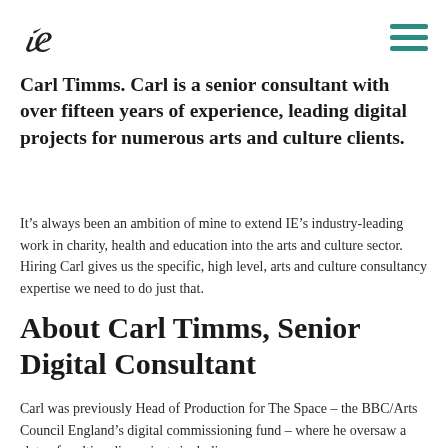ie [logo] / hamburger menu
Carl Timms. Carl is a senior consultant with over fifteen years of experience, leading digital projects for numerous arts and culture clients.
It’s always been an ambition of mine to extend IE’s industry-leading work in charity, health and education into the arts and culture sector. Hiring Carl gives us the specific, high level, arts and culture consultancy expertise we need to do just that.
About Carl Timms, Senior Digital Consultant
Carl was previously Head of Production for The Space – the BBC/Arts Council England’s digital commissioning fund – where he oversaw a slate of multimedia projects including